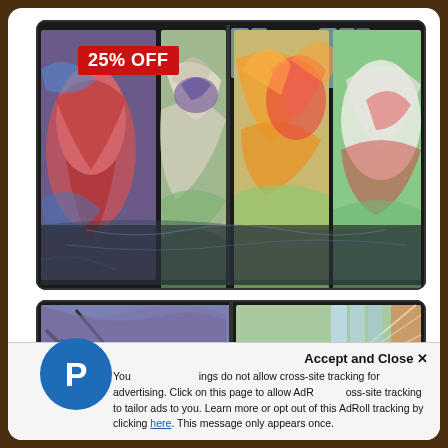[Figure (photo): Product photo of dragon-artwork card storage boxes displayed open, showing colorful fantasy dragon artwork across multiple panels, with a red '25% OFF' badge in the upper left corner. Two clear plastic divider slots visible at top.]
[Figure (photo): Close-up product photo of the same dragon-artwork card storage boxes, showing the interior panels with dramatic dragon illustrations — dark silhouetted dragon with flames on left panel, light dragon with sunburst rays on right panel.]
Accept and Close ✕
Your settings do not allow cross-site tracking for advertising. Click on this page to allow AdRoll cross-site tracking to tailor ads to you. Learn more or opt out of this AdRoll tracking by clicking here. This message only appears once.